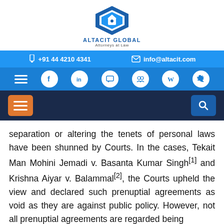[Figure (logo): Altacit Global Attorneys at Law logo — blue diamond/shield icon with text ALTACIT GLOBAL and Attorneys at Law]
+91 44 4210 4341  |  info@altacit.com
Navigation bar with social media icons: Facebook, LinkedIn, Chat, Group, Wikipedia, Twitter
Dark navy bar with hamburger menu button (orange) and search button (blue)
separation or altering the tenets of personal laws have been shunned by Courts. In the cases, Tekait Man Mohini Jemadi v. Basanta Kumar Singh[1] and Krishna Aiyar v. Balammal[2], the Courts upheld the view and declared such prenuptial agreements as void as they are against public policy. However, not all prenuptial agreements are regarded being